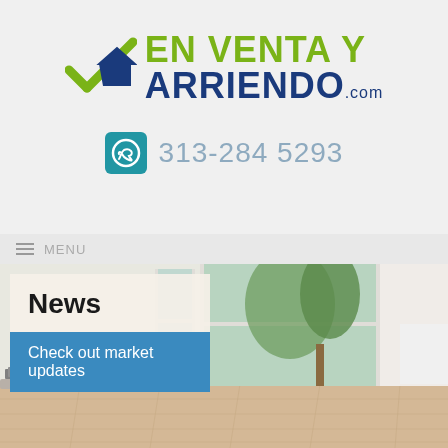[Figure (logo): En Venta y Arriendo .com logo with checkmark/house graphic in green and navy blue]
313-284 5293
[Figure (photo): Interior room with large floor-to-ceiling windows, white sofa, hardwood floor, and trees visible outside]
News
Check out market updates